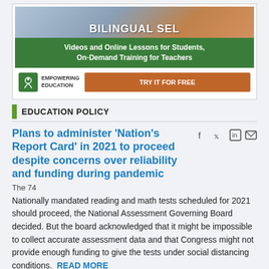[Figure (illustration): Advertisement banner for Empowering Education Bilingual SEL program. Shows 'BILINGUAL SEL' heading with children in background, green bar reading 'Videos and Online Lessons for Students, On-Demand Training for Teachers', logo for Empowering Education, and an orange 'TRY IT FOR FREE' button.]
EDUCATION POLICY
Plans to administer 'Nation's Report Card' in 2021 to proceed despite concerns over reliability and funding during pandemic
The 74
Nationally mandated reading and math tests scheduled for 2021 should proceed, the National Assessment Governing Board decided. But the board acknowledged that it might be impossible to collect accurate assessment data and that Congress might not provide enough funding to give the tests under social distancing conditions.
READ MORE